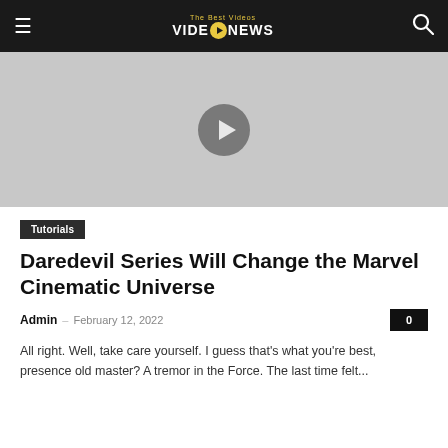VideoNews — The Best Videos NEWS
[Figure (other): Video thumbnail placeholder with gray background and a circular play button in the center]
Tutorials
Daredevil Series Will Change the Marvel Cinematic Universe
Admin – February 12, 2022  0
All right. Well, take care yourself. I guess that's what you're best, presence old master? A tremor in the Force. The last time felt...